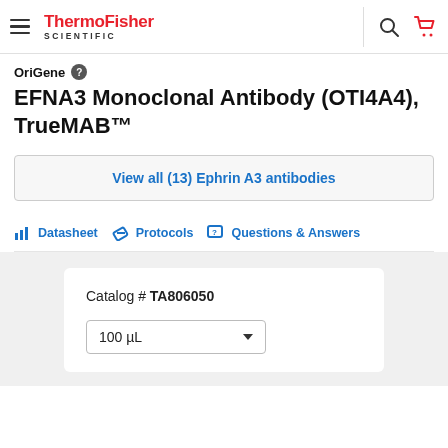ThermoFisher SCIENTIFIC
OriGene
EFNA3 Monoclonal Antibody (OTI4A4), TrueMAB™
View all (13) Ephrin A3 antibodies
Datasheet   Protocols   Questions & Answers
Catalog # TA806050
100 µL